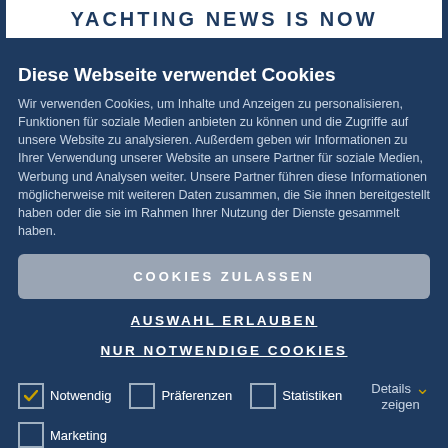YACHTING NEWS IS NOW
Diese Webseite verwendet Cookies
Wir verwenden Cookies, um Inhalte und Anzeigen zu personalisieren, Funktionen für soziale Medien anbieten zu können und die Zugriffe auf unsere Website zu analysieren. Außerdem geben wir Informationen zu Ihrer Verwendung unserer Website an unsere Partner für soziale Medien, Werbung und Analysen weiter. Unsere Partner führen diese Informationen möglicherweise mit weiteren Daten zusammen, die Sie ihnen bereitgestellt haben oder die sie im Rahmen Ihrer Nutzung der Dienste gesammelt haben.
COOKIES ZULASSEN
AUSWAHL ERLAUBEN
NUR NOTWENDIGE COOKIES
Notwendig
Präferenzen
Statistiken
Marketing
Details zeigen